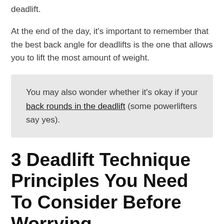deadlift.
At the end of the day, it's important to remember that the best back angle for deadlifts is the one that allows you to lift the most amount of weight.
You may also wonder whether it's okay if your back rounds in the deadlift (some powerlifters say yes).
3 Deadlift Technique Principles You Need To Consider Before Worrying